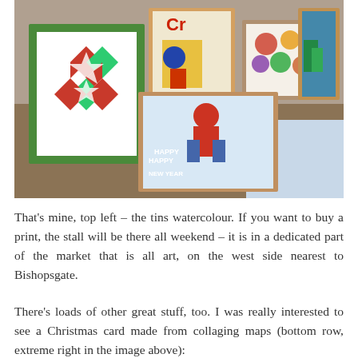[Figure (photo): A display table with various art prints and cards. Top left shows a geometric snowflake/star watercolour print with green border. Other cards include colourful illustrated prints and a 'Happy New Year' style card in the centre. Watercolour circles on the right and an illustrated print far right.]
That's mine, top left – the tins watercolour. If you want to buy a print, the stall will be there all weekend – it is in a dedicated part of the market that is all art, on the west side nearest to Bishopsgate.
There's loads of other great stuff, too. I was really interested to see a Christmas card made from collaging maps (bottom row, extreme right in the image above):